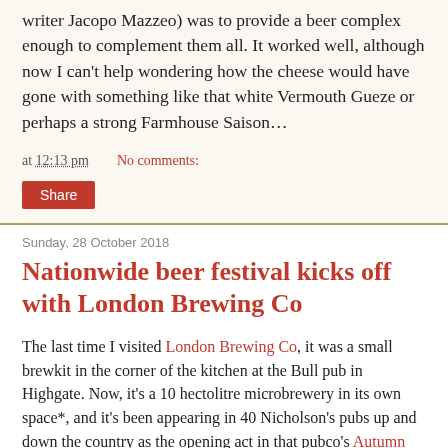writer Jacopo Mazzeo) was to provide a beer complex enough to complement them all. It worked well, although now I can't help wondering how the cheese would have gone with something like that white Vermouth Gueze or perhaps a strong Farmhouse Saison…
at 12:13 pm   No comments:
Share
Sunday, 28 October 2018
Nationwide beer festival kicks off with London Brewing Co
The last time I visited London Brewing Co, it was a small brewkit in the corner of the kitchen at the Bull pub in Highgate. Now, it's a 10 hectolitre microbrewery in its own space*, and it's been appearing in 40 Nicholson's pubs up and down the country as the opening act in that pubco's Autumn 2018 Beer Showcase, which opened last month.